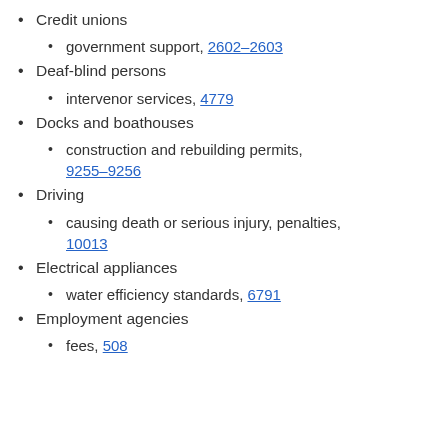Credit unions
government support, 2602–2603
Deaf-blind persons
intervenor services, 4779
Docks and boathouses
construction and rebuilding permits, 9255–9256
Driving
causing death or serious injury, penalties, 10013
Electrical appliances
water efficiency standards, 6791
Employment agencies
fees, 508